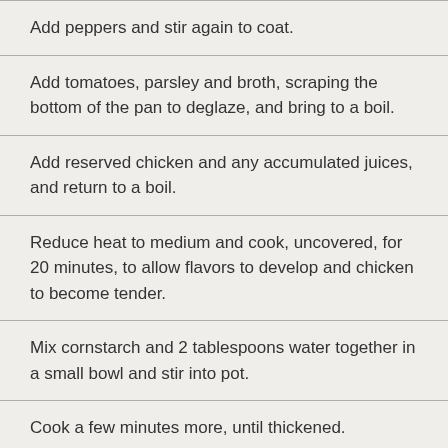Add peppers and stir again to coat.
Add tomatoes, parsley and broth, scraping the bottom of the pan to deglaze, and bring to a boil.
Add reserved chicken and any accumulated juices, and return to a boil.
Reduce heat to medium and cook, uncovered, for 20 minutes, to allow flavors to develop and chicken to become tender.
Mix cornstarch and 2 tablespoons water together in a small bowl and stir into pot.
Cook a few minutes more, until thickened.